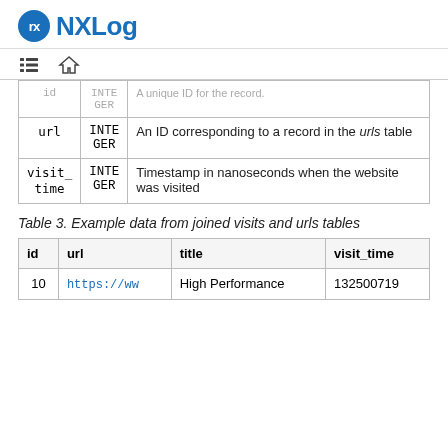NXLog
| Column | Type | Description |
| --- | --- | --- |
| id | INTEGER | A unique ID for the record. |
| url | INTEGER | An ID corresponding to a record in the urls table |
| visit_time | INTEGER | Timestamp in nanoseconds when the website was visited |
Table 3. Example data from joined visits and urls tables
| id | url | title | visit_time |
| --- | --- | --- | --- |
| 10 | https://ww | High Performance | 132500719 |